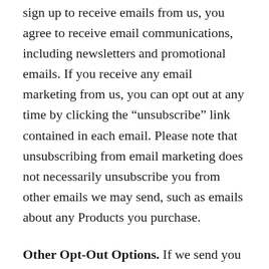sign up to receive emails from us, you agree to receive email communications, including newsletters and promotional emails. If you receive any email marketing from us, you can opt out at any time by clicking the “unsubscribe” link contained in each email. Please note that unsubscribing from email marketing does not necessarily unsubscribe you from other emails we may send, such as emails about any Products you purchase.
Other Opt-Out Options. If we send you physical mailings or short message service (SMS) messages or contact you via telephone, you can opt out by contacting us using the contact